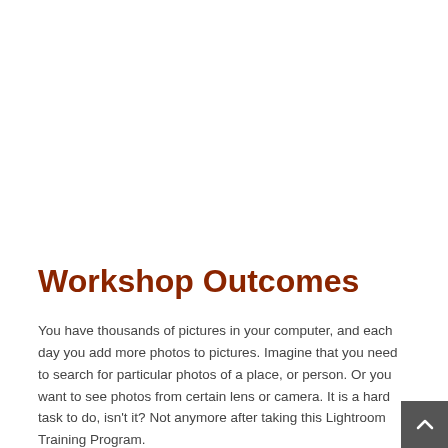Workshop Outcomes
You have thousands of pictures in your computer, and each day you add more photos to pictures. Imagine that you need to search for particular photos of a place, or person. Or you want to see photos from certain lens or camera. It is a hard task to do, isn't it? Not anymore after taking this Lightroom Training Program.